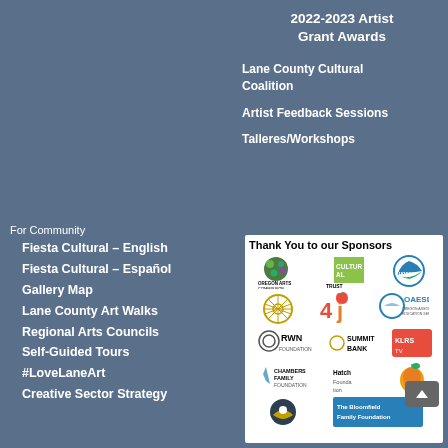2022-2023 Artist Grant Awards
Lane County Cultural Coalition
Artist Feedback Sessions
Talleres/Workshops
For Community
Fiesta Cultural – English
Fiesta Cultural – Español
Gallery Map
Lane County Art Walks
Regional Arts Councils
Self-Guided Tours
#LoveLaneArt
Creative Sector Strategy
[Figure (infographic): Thank You to our Sponsors panel with logos: Oregon Arts Commission, Cultural Trust, Eugene (City logo), 4J, OAESD, RWN Foundation, Summit Bank, KLRS-TV, Chambers Family Foundation, Hatch Foundation, Lane County (peach logo), an eagle/bird logo, The Bloomfield Family Foundation]